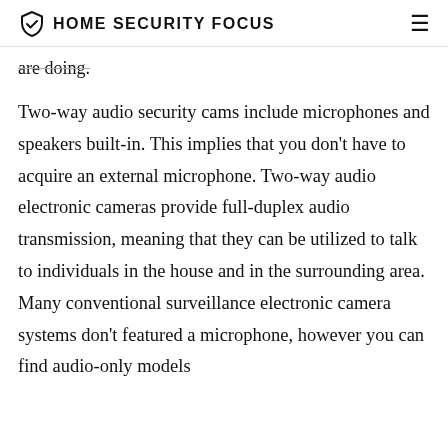HOME SECURITY FOCUS
are doing.
Two-way audio security cams include microphones and speakers built-in. This implies that you don't have to acquire an external microphone. Two-way audio electronic cameras provide full-duplex audio transmission, meaning that they can be utilized to talk to individuals in the house and in the surrounding area. Many conventional surveillance electronic camera systems don't featured a microphone, however you can find audio-only models